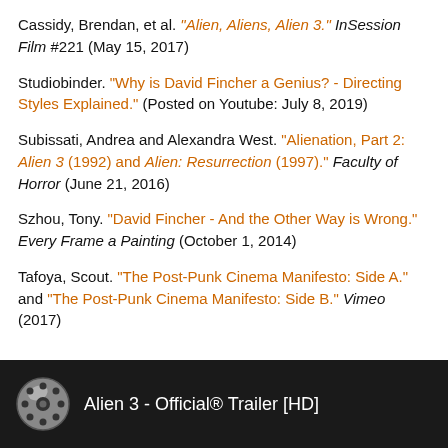Cassidy, Brendan, et al. "Alien, Aliens, Alien 3." InSession Film #221 (May 15, 2017)
Studiobinder. "Why is David Fincher a Genius? - Directing Styles Explained." (Posted on Youtube: July 8, 2019)
Subissati, Andrea and Alexandra West. "Alienation, Part 2: Alien 3 (1992) and Alien: Resurrection (1997)." Faculty of Horror (June 21, 2016)
Szhou, Tony. "David Fincher - And the Other Way is Wrong." Every Frame a Painting (October 1, 2014)
Tafoya, Scout. "The Post-Punk Cinema Manifesto: Side A." and "The Post-Punk Cinema Manifesto: Side B." Vimeo (2017)
[Figure (screenshot): Video thumbnail bar showing film reel icon and text 'Alien 3 - Official® Trailer [HD]' on dark background]